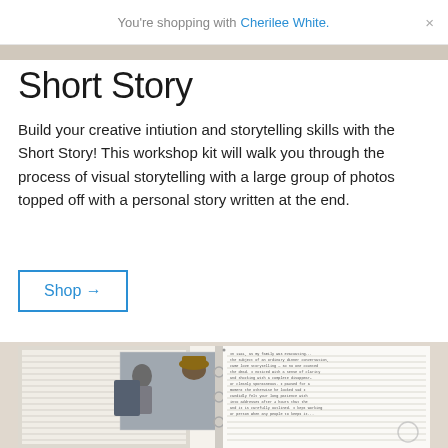You're shopping with Cherilee White. ×
Short Story
Build your creative intiution and storytelling skills with the Short Story! This workshop kit will walk you through the process of visual storytelling with a large group of photos topped off with a personal story written at the end.
Shop →
[Figure (photo): Product photo showing an open binder/journal with lined pages and a photograph of two people, one wearing a hat, alongside handwritten text on the right page.]